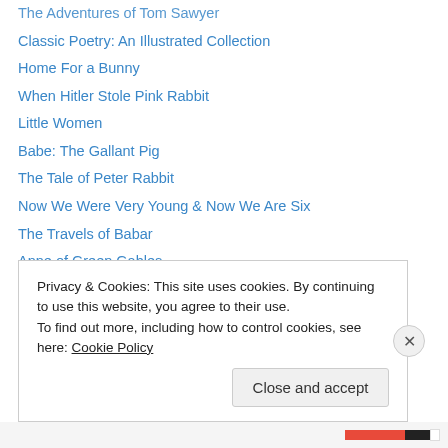The Adventures of Tom Sawyer
Classic Poetry: An Illustrated Collection
Home For a Bunny
When Hitler Stole Pink Rabbit
Little Women
Babe: The Gallant Pig
The Tale of Peter Rabbit
Now We Were Very Young & Now We Are Six
The Travels of Babar
Anne of Green Gables
The Cow Who Fell In the Canal
Rabbit Hill
Freight Train
Big Tiger and Christian
Privacy & Cookies: This site uses cookies. By continuing to use this website, you agree to their use.
To find out more, including how to control cookies, see here: Cookie Policy
Close and accept